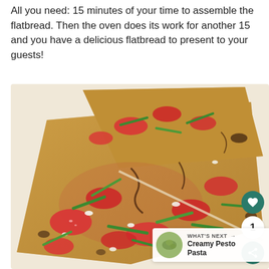All you need: 15 minutes of your time to assemble the flatbread. Then the oven does its work for another 15 and you have a delicious flatbread to present to your guests!
[Figure (photo): Close-up photo of a strawberry basil flatbread pizza with feta cheese, sliced into pieces, with green basil chiffonade and balsamic glaze on top. UI overlay shows a heart/save button in teal, a count of 1, a share button, and a 'What's Next' bar showing Creamy Pesto Pasta.]